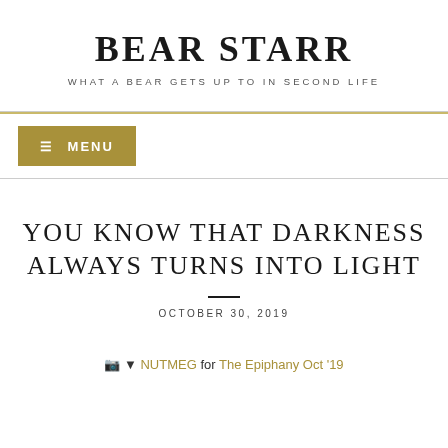BEAR STARR
WHAT A BEAR GETS UP TO IN SECOND LIFE
≡ MENU
YOU KNOW THAT DARKNESS ALWAYS TURNS INTO LIGHT
OCTOBER 30, 2019
📷 ▼ NUTMEG for The Epiphany Oct '19